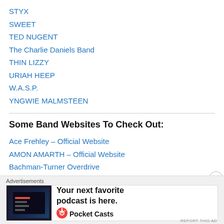STYX
SWEET
TED NUGENT
The Charlie Daniels Band
THIN LIZZY
URIAH HEEP
W.A.S.P.
YNGWIE MALMSTEEN
Some Band Websites To Check Out:
Ace Frehley – Official Website
AMON AMARTH – Official Website
Bachman-Turner Overdrive
BAD COMPANY
[Figure (infographic): Advertisement banner for Pocket Casts podcast app with text 'Your next favorite podcast is here.' and the Pocket Casts logo.]